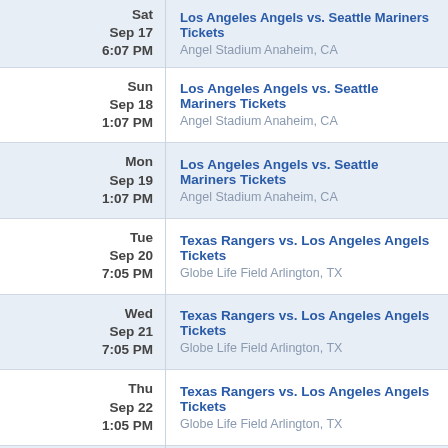| Date | Event |
| --- | --- |
| Sat
Sep 17
6:07 PM | Los Angeles Angels vs. Seattle Mariners Tickets
Angel Stadium Anaheim, CA |
| Sun
Sep 18
1:07 PM | Los Angeles Angels vs. Seattle Mariners Tickets
Angel Stadium Anaheim, CA |
| Mon
Sep 19
1:07 PM | Los Angeles Angels vs. Seattle Mariners Tickets
Angel Stadium Anaheim, CA |
| Tue
Sep 20
7:05 PM | Texas Rangers vs. Los Angeles Angels Tickets
Globe Life Field Arlington, TX |
| Wed
Sep 21
7:05 PM | Texas Rangers vs. Los Angeles Angels Tickets
Globe Life Field Arlington, TX |
| Thu
Sep 22
1:05 PM | Texas Rangers vs. Los Angeles Angels Tickets
Globe Life Field Arlington, TX |
| Fri
Sep 23
7:10 PM | Minnesota Twins vs. Los Angeles Angels Tickets
Target Field Minneapolis, MN |